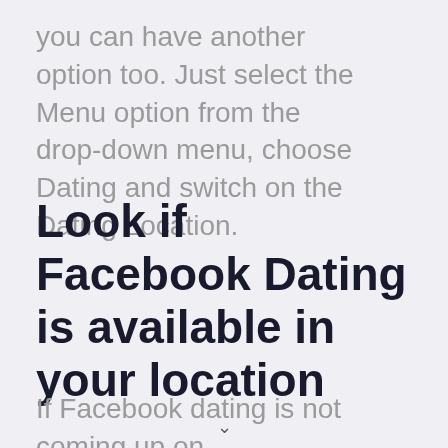you can have another option too. Just select the Menu option from the drop-down menu, choose Dating and switch on the Dating Location.
Look if Facebook Dating is available in your location
If Facebook dating is not coming up on